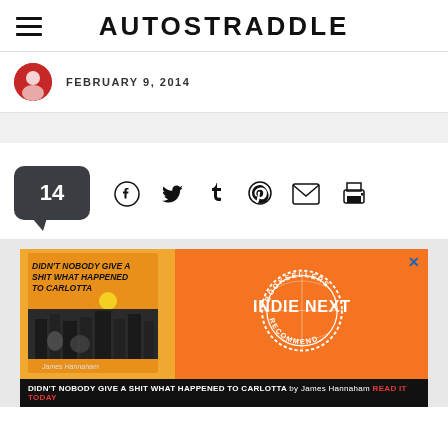AUTOSTRADDLE
FEBRUARY 9, 2014
[Figure (infographic): Comment count bubble showing 14 with social sharing icons: Facebook, Twitter, Tumblr, Pinterest, Email, Print]
[Figure (infographic): Advertisement for book: DIDN'T NOBODY GIVE A SHIT WHAT HAPPENED TO CARLOTTA by James Hannaham. Indie Next Booksellers Recommend badge on orange background.]